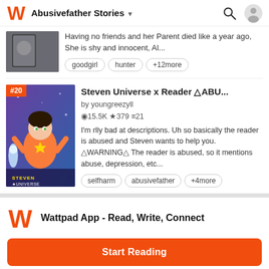Abusivefather Stories
Having no friends and her Parent died like a year ago, She is shy and innocent, Al...
goodgirl  hunter  +12more
Steven Universe x Reader △ABU...
by youngreezyll
⊙15.5K ★379 ≡21
I'm rlly bad at descriptions. Uh so basically the reader is abused and Steven wants to help you. △WARNING△ The reader is abused, so it mentions abuse, depression, etc...
selfharm  abusivefather  +4more
Wattpad App - Read, Write, Connect
Start Reading
Log in with Browser